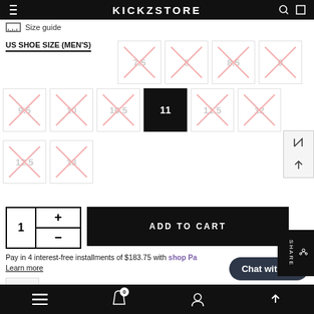KICKZSTORE
Size guide
US SHOE SIZE (MEN'S)
[Figure (other): Shoe size selector grid. Row 1: 7.5, 8, 8.5, 9 (all crossed out/unavailable). Row 2: 9.5, 10, 10.5, 11 (selected/black), 11.5, 12 (crossed out). Row 3: 12.5, 13 (crossed out).]
[Figure (other): Add to Cart button with quantity selector showing 1]
Pay in 4 interest-free installments of $183.75 with shop Pay
Learn more
AIR JORDAN 1 | HIGH OG BRED 2013
$735.00 USD
Bottom navigation bar with menu, bag, account, and up icons